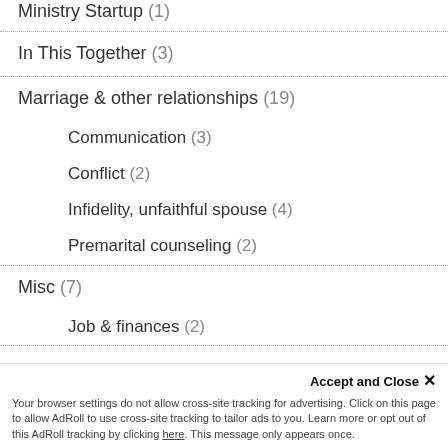Ministry Startup (1)
In This Together (3)
Marriage & other relationships (19)
Communication (3)
Conflict (2)
Infidelity, unfaithful spouse (4)
Premarital counseling (2)
Misc (7)
Job & finances (2)
Parenting (23)
Single parents (5)
Pastor's issues (83)
Care ministry administration (8)
Accept and Close ✕
Your browser settings do not allow cross-site tracking for advertising. Click on this page to allow AdRoll to use cross-site tracking to tailor ads to you. Learn more or opt out of this AdRoll tracking by clicking here. This message only appears once.